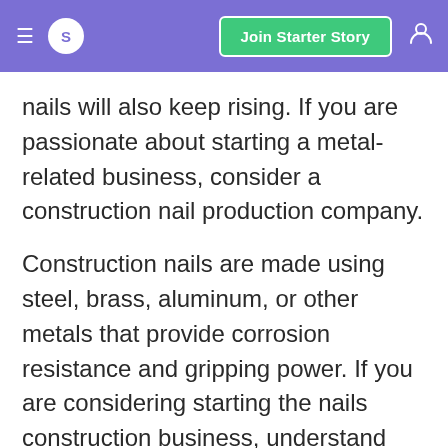S  Join Starter Story
nails will also keep rising. If you are passionate about starting a metal-related business, consider a construction nail production company.
Construction nails are made using steel, brass, aluminum, or other metals that provide corrosion resistance and gripping power. If you are considering starting the nails construction business, understand the industry and acquire nail-making machines. Set up your nail production